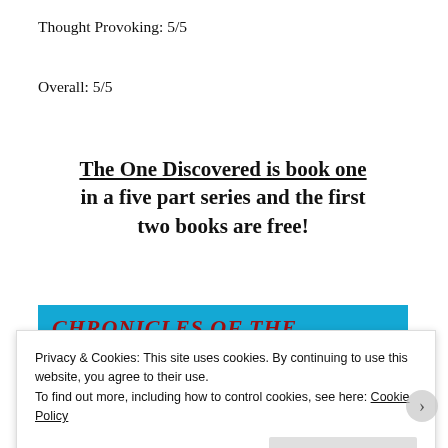Thought Provoking: 5/5
Overall: 5/5
The One Discovered is book one in a five part series and the first two books are free!
[Figure (other): Blue banner with red italic bold text reading CHRONICLES OF THE DIASODZ]
Privacy & Cookies: This site uses cookies. By continuing to use this website, you agree to their use.
To find out more, including how to control cookies, see here: Cookie Policy
Close and accept